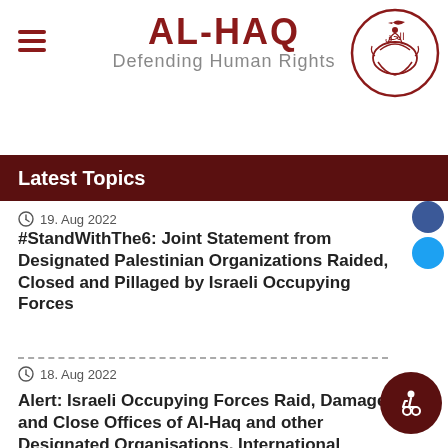AL-HAQ — Defending Human Rights
Latest Topics
19. Aug 2022
#StandWithThe6: Joint Statement from Designated Palestinian Organizations Raided, Closed and Pillaged by Israeli Occupying Forces
18. Aug 2022
Alert: Israeli Occupying Forces Raid, Damage and Close Offices of Al-Haq and other Designated Organisations, International Community Must Intervene
17. Aug 2022
Al-Haq Attends Human Rights Council, 50th Session, Highlights Israel's Accountability